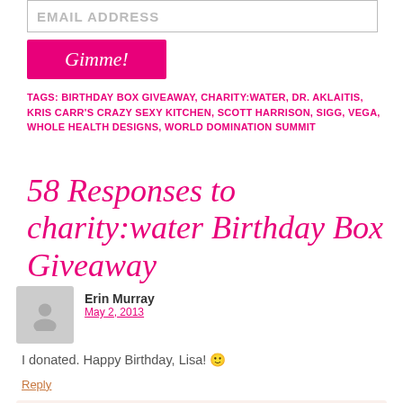EMAIL ADDRESS
Gimme!
TAGS: BIRTHDAY BOX GIVEAWAY, CHARITY:WATER, DR. AKLAITIS, KRIS CARR'S CRAZY SEXY KITCHEN, SCOTT HARRISON, SIGG, VEGA, WHOLE HEALTH DESIGNS, WORLD DOMINATION SUMMIT
58 Responses to charity:water Birthday Box Giveaway
Erin Murray
May 2, 2013
I donated. Happy Birthday, Lisa! 🙂
Reply
Lisa Consiglio Ryan
May 2, 2013
Erin! OMG, OMG, OMG. I'm so happy! Thank you so much; this is so very wonderful! Hugs